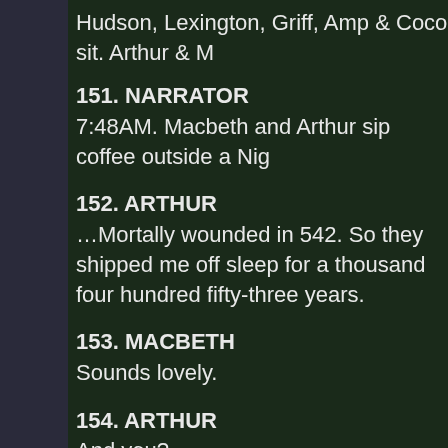Hudson, Lexington, Griff, Amp & Coco sit. Arthur & M
151. NARRATOR
7:48AM. Macbeth and Arthur sip coffee outside a Nig
152. ARTHUR
…Mortally wounded in 542. So they shipped me off sleep for a thousand four hundred fifty-three years.
153. MACBETH
Sounds lovely.
154. ARTHUR
And you?
155. MACBETH
Deal with a demon in 1040. Officially died in 1057. B thirty-nine years.
156. ARTHUR
<pause> Guess I got the better bargain.
157. MACBETH
Ach, I try not to dwell these days. So hereâs to th